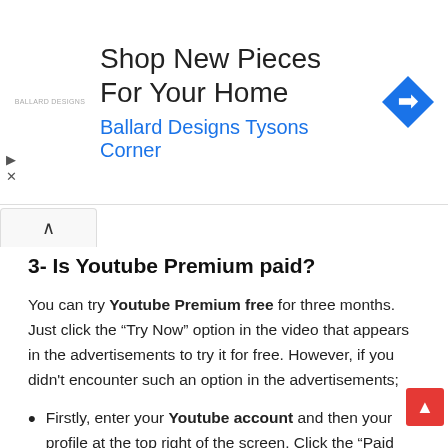[Figure (infographic): Advertisement banner: 'Shop New Pieces For Your Home', 'Ballard Designs Tysons Corner' with blue text, logo on left, navigation icon on right]
3- Is Youtube Premium paid?
You can try Youtube Premium free for three months. Just click the “Try Now” option in the video that appears in the advertisements to try it for free. However, if you didn't encounter such an option in the advertisements;
Firstly, enter your Youtube account and then your profile at the top right of the screen. Click the “Paid memberships” option.
Click on the “Premium” then “Learn more” from the “Premium” and “Music” options.
You can start using the Premium Package, which is valid